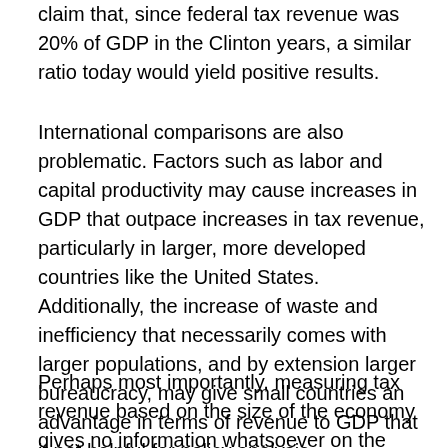claim that, since federal tax revenue was 20% of GDP in the Clinton years, a similar ratio today would yield positive results.
International comparisons are also problematic. Factors such as labor and capital productivity may cause increases in GDP that outpace increases in tax revenue, particularly in larger, more developed countries like the United States. Additionally, the increase of waste and inefficiency that necessarily comes with larger populations, and by extension larger bureaucracy, may give small countries an advantage in terms of revenue to GDP that it not helpful for policy analysis.
Perhaps most importantly, measuring tax revenue based on the size of the economy gives no information whatsoever on the deficit situation or the ability to finance federal programs, the main fiscal issues with which we are